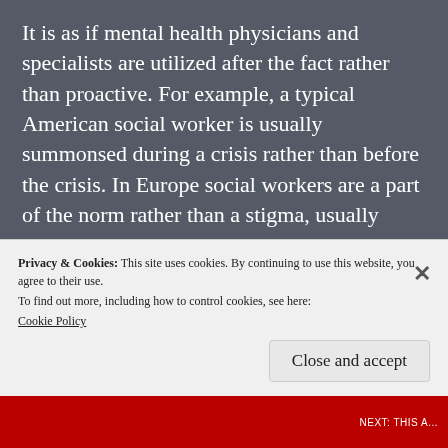It is as if mental health physicians and specialists are utilized after the fact rather than proactive. For example, a typical American social worker is usually summonsed during a crisis rather than before the crisis. In Europe social workers are a part of the norm rather than a stigma, usually based in America, to react to issues.
The recent shooting by Nikolas Cruz in a Florida school was perhaps the most tragic
Privacy & Cookies: This site uses cookies. By continuing to use this website, you agree to their use.
To find out more, including how to control cookies, see here:
Cookie Policy
Close and accept